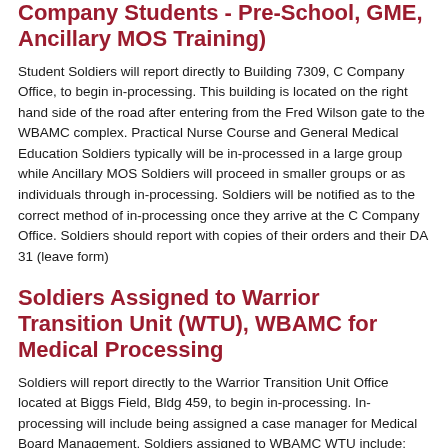Company Students - Pre-School, GME, Ancillary MOS Training)
Student Soldiers will report directly to Building 7309, C Company Office, to begin in-processing. This building is located on the right hand side of the road after entering from the Fred Wilson gate to the WBAMC complex. Practical Nurse Course and General Medical Education Soldiers typically will be in-processed in a large group while Ancillary MOS Soldiers will proceed in smaller groups or as individuals through in-processing. Soldiers will be notified as to the correct method of in-processing once they arrive at the C Company Office. Soldiers should report with copies of their orders and their DA 31 (leave form)
Soldiers Assigned to Warrior Transition Unit (WTU), WBAMC for Medical Processing
Soldiers will report directly to the Warrior Transition Unit Office located at Biggs Field, Bldg 459, to begin in-processing. In-processing will include being assigned a case manager for Medical Board Management. Soldiers assigned to WBAMC WTU include: Active Duty Soldiers returning from OIF/OEF/ONE via medical evacuation, Active Duty